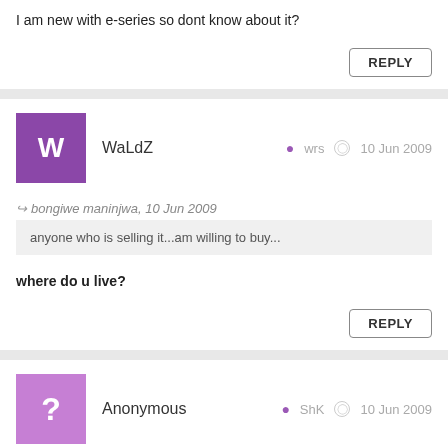I am new with e-series so dont know about it?
REPLY
WaLdZ  wrs  10 Jun 2009
bongiwe maninjwa, 10 Jun 2009
anyone who is selling it...am willing to buy...
where do u live?
REPLY
Anonymous  ShK  10 Jun 2009